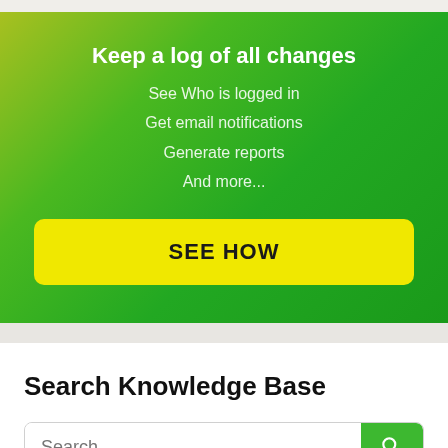Keep a log of all changes
See Who is logged in
Get email notifications
Generate reports
And more...
SEE HOW
Search Knowledge Base
Search...